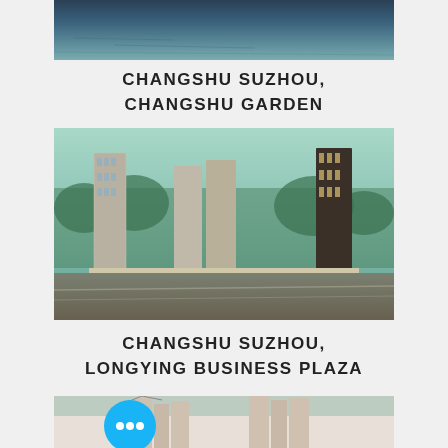[Figure (photo): Partial aerial/waterfront photo showing a lake or water reflection, cropped at top of page]
CHANGSHU SUZHOU,
CHANGSHU GARDEN
[Figure (photo): Aerial architectural rendering of Changshu Suzhou Longying Business Plaza showing multiple high-rise towers along a commercial boulevard with greenery]
CHANGSHU SUZHOU,
LONGYING BUSINESS PLAZA
[Figure (photo): Partial rendering of residential high-rise buildings, cropped at the bottom of the page with a blue chat button overlay]